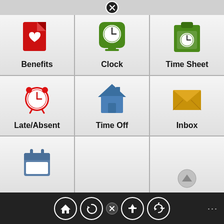[Figure (screenshot): Mobile app menu screenshot showing a 3x3 grid of icons with labels: Benefits (red heart document), Clock (green clock device), Time Sheet (green clipboard with clock), Late/Absent (red alarm clock), Time Off (blue house), Inbox (gold envelope), and a calendar icon in bottom-left cell. Navigation bar at bottom with home, refresh, close, pin, and sync buttons.]